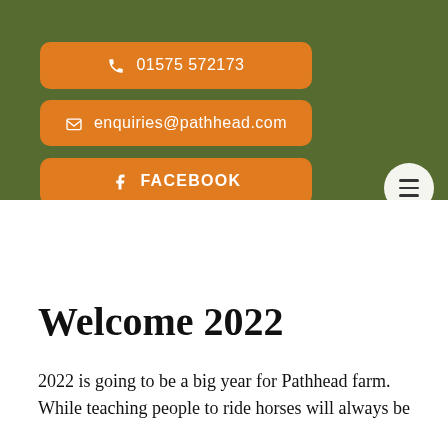01575 572173
enquiries@pathhead.com
FACEBOOK
Welcome 2022
2022 is going to be a big year for Pathhead farm. While teaching people to ride horses will always be